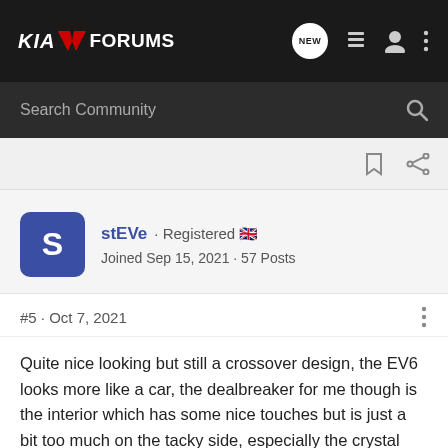KIA EV FORUMS
Search Community
stEVe · Registered 🇬🇧
Joined Sep 15, 2021 · 57 Posts
#5 · Oct 7, 2021
Quite nice looking but still a crossover design, the EV6 looks more like a car, the dealbreaker for me though is the interior which has some nice touches but is just a bit too much on the tacky side, especially the crystal orb.